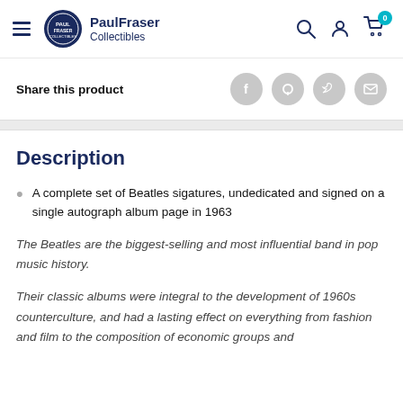PaulFraser Collectibles
Share this product
Description
A complete set of Beatles sigatures, undedicated and signed on a single autograph album page in 1963
The Beatles are the biggest-selling and most influential band in pop music history.
Their classic albums were integral to the development of 1960s counterculture, and had a lasting effect on everything from fashion and film to the composition of economic groups and